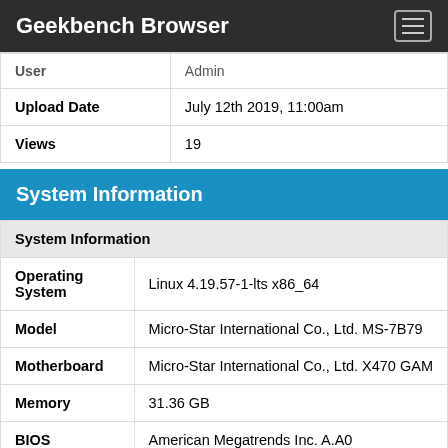Geekbench Browser
| User | Admin |
| Upload Date | July 12th 2019, 11:00am |
| Views | 19 |
System Information
| System Information |  |
| Operating System | Linux 4.19.57-1-lts x86_64 |
| Model | Micro-Star International Co., Ltd. MS-7B79 |
| Motherboard | Micro-Star International Co., Ltd. X470 GAM |
| Memory | 31.36 GB |
| BIOS | American Megatrends Inc. A.A0 |
| Processor Information |  |
| Name | AMD Ryzen 7 3700X |